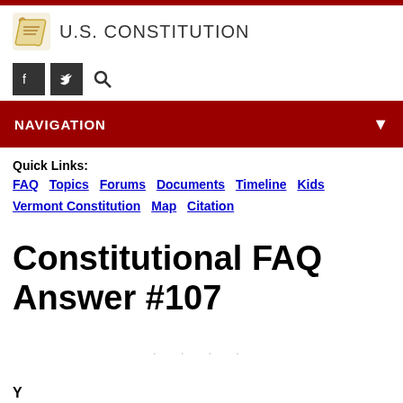U.S. CONSTITUTION
NAVIGATION
Quick Links:
FAQ  Topics  Forums  Documents  Timeline  Kids  Vermont Constitution  Map  Citation
Constitutional FAQ Answer #107